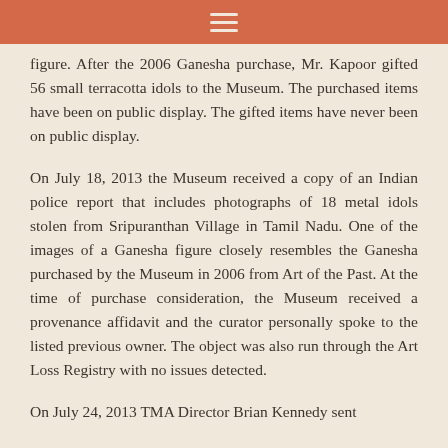≡
figure. After the 2006 Ganesha purchase, Mr. Kapoor gifted 56 small terracotta idols to the Museum. The purchased items have been on public display. The gifted items have never been on public display.
On July 18, 2013 the Museum received a copy of an Indian police report that includes photographs of 18 metal idols stolen from Sripuranthan Village in Tamil Nadu. One of the images of a Ganesha figure closely resembles the Ganesha purchased by the Museum in 2006 from Art of the Past. At the time of purchase consideration, the Museum received a provenance affidavit and the curator personally spoke to the listed previous owner. The object was also run through the Art Loss Registry with no issues detected.
On July 24, 2013 TMA Director Brian Kennedy sent